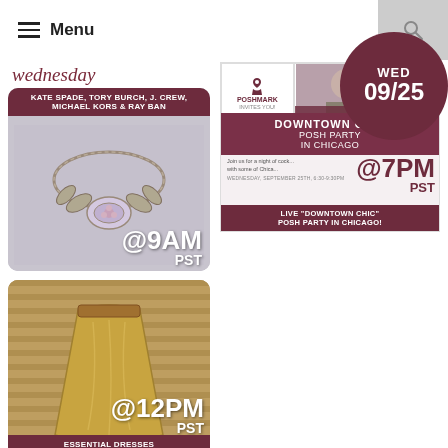≡ Menu
wednesday
[Figure (photo): Crystal/rhinestone statement necklace on light background, with overlay text: KATE SPADE, TORY BURCH, J. CREW, MICHAEL KORS & RAY BAN @9AM PST]
[Figure (photo): Shiny Gold metallic pleated skirt on hanger, with overlay text: Shiny Gold @12PM PST, ESSENTIAL DRESSES & SKIRTS]
[Figure (infographic): Poshmark party invitation grid: WED 09/25, POSHMARK INVITES YOU!, host photos (Sierra, Christine, Aranda, Cait), MEET & SHOP THE CLOSETS OF OUR CO-HOSTS!, OH MY POSH! quote, DOWNTOWN CHIC POSH PARTY IN CHICAGO @7PM PST, WEDNESDAY SEPTEMBER 25TH 6:30-9:30PM, LIVE DOWNTOWN CHIC POSH PARTY IN CHICAGO!]